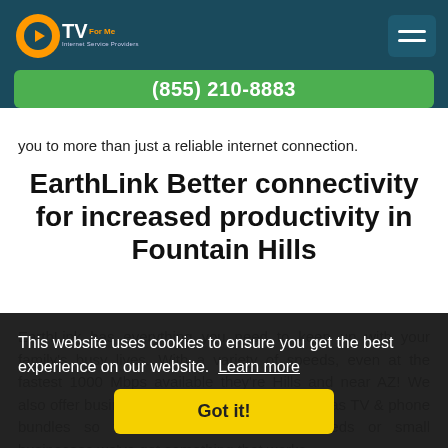CTVForMe Internet Service Providers — (855) 210-8883
you to more than just a reliable internet connection.
EarthLink Better connectivity for increased productivity in Fountain Hills
EarthLink has everything you need to keep up with your family's busy lives. With a variety of speeds, even at the fastest 1000 Mbps available they're Hills and near AZ! We also offer business level DSL solutions as well as TV & phone bundles so whether it be residential needs or small businesses we've got something that works
This website uses cookies to ensure you get the best experience on our website. Learn more
Got it!